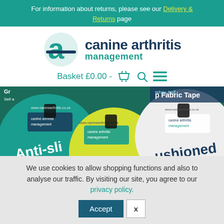For information about returns, please see our Delivery & Returns page
[Figure (logo): Canine Arthritis Management logo with teal icon and dark blue/teal text]
Basket £0.00 -
[Figure (photo): Product photo showing Canine Arthritis Management tape products: Anti-slip Clear, Cushioned Grip Tape, White Self Adhesive Fabric Tape, and Anti-slip Disc on teal, yellow, and white backgrounds]
We use cookies to allow shopping functions and also to analyse our traffic. By visiting our site, you agree to our privacy policy.